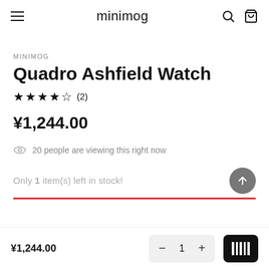minimog
MINIMOG
Quadro Ashfield Watch
★★★★☆ (2)
¥1,244.00
20 people are viewing this right now
Only 1 item(s) left in stock!
¥1,244.00
- 1 + [add to cart button]